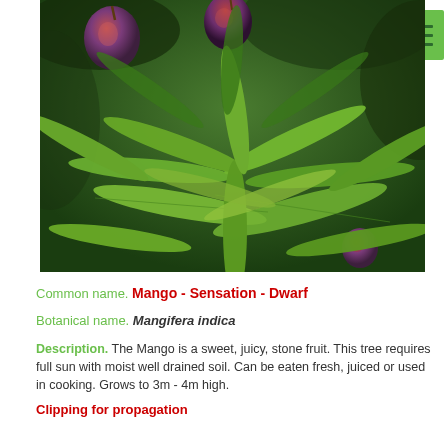[Figure (photo): Close-up photograph of a mango tree with green elongated leaves and several ripe red-purple mangoes hanging from branches against a dark leafy background.]
Common name. Mango - Sensation - Dwarf
Botanical name. Mangifera indica
Description. The Mango is a sweet, juicy, stone fruit. This tree requires full sun with moist well drained soil. Can be eaten fresh, juiced or used in cooking. Grows to 3m - 4m high.
Clipping for propagation